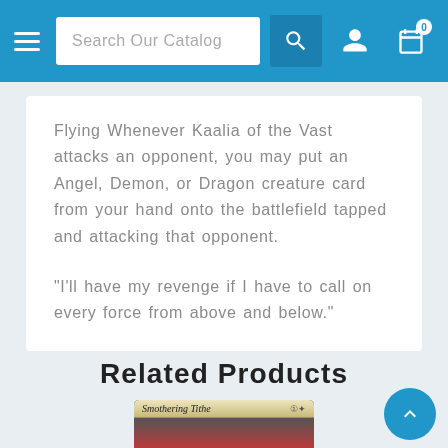Search Our Catalog
Flying Whenever Kaalia of the Vast attacks an opponent, you may put an Angel, Demon, or Dragon creature card from your hand onto the battlefield tapped and attacking that opponent.
"I'll have my revenge if I have to call on every force from above and below."
Related Products
[Figure (photo): Magic: The Gathering card Smothering Tithe partially visible at bottom of page]